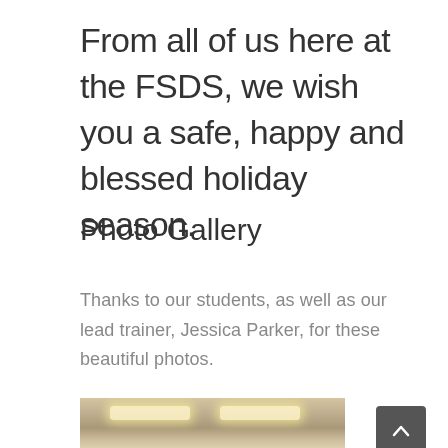From all of us here at the FSDS, we wish you a safe, happy and blessed holiday season.
Photo Gallery
Thanks to our students, as well as our lead trainer, Jessica Parker, for these beautiful photos.
[Figure (photo): Indoor ceiling photo showing fluorescent light strips in a classroom or office space]